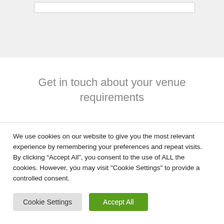[Figure (screenshot): Top grey background section with a white input/search bar near the top]
Get in touch about your venue requirements
We use cookies on our website to give you the most relevant experience by remembering your preferences and repeat visits. By clicking “Accept All”, you consent to the use of ALL the cookies. However, you may visit "Cookie Settings" to provide a controlled consent.
Cookie Settings | Accept All